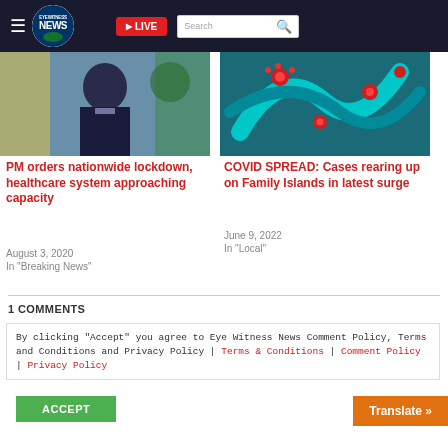Eyewitness NEWS | LIVE | Search
[Figure (photo): Person in dark suit speaking, flag in background (left article thumbnail)]
PM orders nationwide lockdown, healthcare system approaching capacity
August 3, 2020
In "Breaking News"
[Figure (photo): COVID virus illustration, teal and red colors (right article thumbnail)]
COVID SPREAD: Cases rearing up on Family Islands in latest surge
June 9, 2022
In "Local"
1 COMMENTS
By clicking "Accept" you agree to Eye Witness News Comment Policy, Terms and Conditions and Privacy Policy | Terms & Conditions | Comment Policy | Privacy Policy
ACCEPT
Translate »